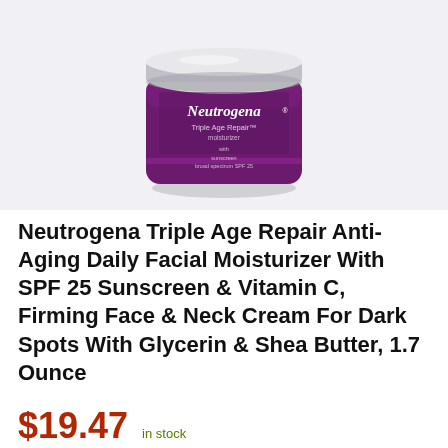[Figure (photo): Neutrogena Triple Age Repair moisturizer jar with silver lid on light gray background. Purple jar with Neutrogena branding, Triple Age Repair moisturizer label, with sunscreen broad spectrum SPF 25.]
Neutrogena Triple Age Repair Anti-Aging Daily Facial Moisturizer With SPF 25 Sunscreen & Vitamin C, Firming Face & Neck Cream For Dark Spots With Glycerin & Shea Butter, 1.7 Ounce
$19.47  in stock